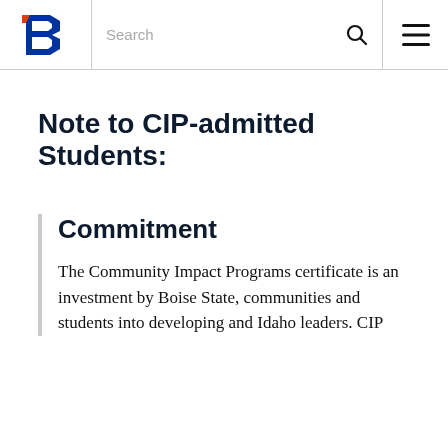Boise State University — Search / Menu navigation bar
Note to CIP-admitted Students:
Commitment
The Community Impact Programs certificate is an investment by Boise State, communities and students into developing and Idaho leaders. CIP